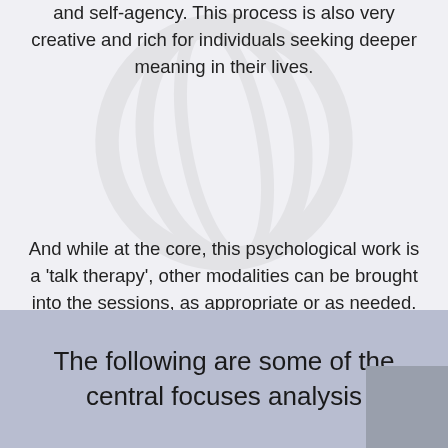and self-agency. This process is also very creative and rich for individuals seeking deeper meaning in their lives.
And while at the core, this psychological work is a 'talk therapy', other modalities can be brought into the sessions, as appropriate or as needed. These might be journaling, free-fall writing, sand tray work, drawing, painting, psycho-drama, or mindfulness practices, to name the main ones.
The following are some of the central focuses analysis